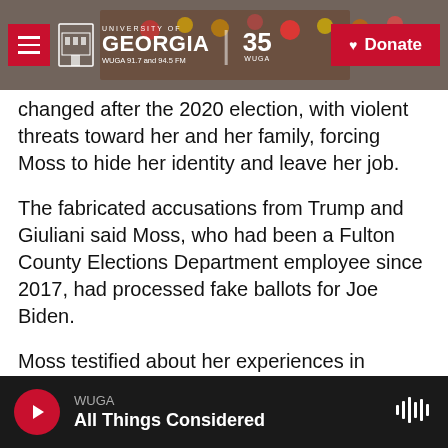[Figure (screenshot): WUGA University of Georgia radio station website header with logo, 35th anniversary badge, and red Donate button, overlaid on a photo of a mixing board]
changed after the 2020 election, with violent threats toward her and her family, forcing Moss to hide her identity and leave her job.
The fabricated accusations from Trump and Giuliani said Moss, who had been a Fulton County Elections Department employee since 2017, had processed fake ballots for Joe Biden.
Moss testified about her experiences in Congress Tuesday, at the fourth hearing of the House select committee investigating the Jan. 6 insurrection at the Capitol. The hearing focused on Trump's efforts to pressure state officials to overturn the election.
[Figure (screenshot): Audio player bar at bottom showing WUGA station playing All Things Considered with play button and waveform icon]